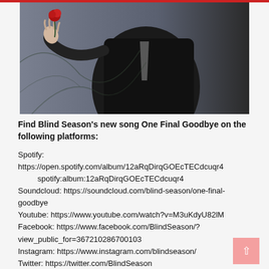[Figure (illustration): Dark painting of a figure in a black suit holding a red rose, with the word GOODBYE written vertically in gold/yellow letters on the right side of the image.]
Find Blind Season's new song One Final Goodbye on the following platforms:
Spotify: https://open.spotify.com/album/12aRqDirqGOEcTECdcuqr4
spotify:album:12aRqDirqGOEcTECdcuqr4
Soundcloud: https://soundcloud.com/blind-season/one-final-goodbye
Youtube: https://www.youtube.com/watch?v=M3uKdyU82lM
Facebook: https://www.facebook.com/BlindSeason/?view_public_for=367210286700103
Instagram: https://www.instagram.com/blindseason/
Twitter: https://twitter.com/BlindSeason